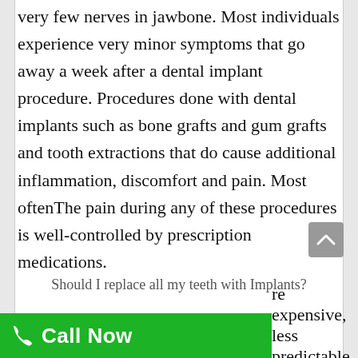very few nerves in jawbone. Most individuals experience very minor symptoms that go away a week after a dental implant procedure. Procedures done with dental implants such as bone grafts and gum grafts and tooth extractions that do cause additional inflammation, discomfort and pain. Most oftenThe pain during any of these procedures is well-controlled by prescription medications.
Should I replace all my teeth with Implants?
re expensive, less predictable and